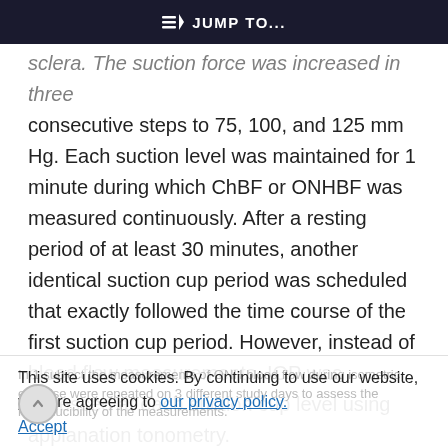JUMP TO...
sclera. The suction force was increased in three consecutive steps to 75, 100, and 125 mm Hg. Each suction level was maintained for 1 minute during which ChBF or ONHBF was measured continuously. After a resting period of at least 30 minutes, another identical suction cup period was scheduled that exactly followed the time course of the first suction cup period. However, instead of blood flow measurements, IOP was assessed at each suction cup level using applanation tonometry.
In 1 subject the measurements of ONH blood flow during isometric exercise were repeated on 3 different study days to assess the reproducibility of the measurements.
This site uses cookies. By continuing to use our website, you are agreeing to our privacy policy. Accept